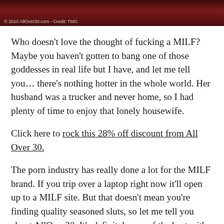[Figure (photo): Dark reddish-brown photo strip at top of page, partially cropped image with copyright watermark]
© 2010 AllOver30.com - Credit: TMG
Who doesn't love the thought of fucking a MILF? Maybe you haven't gotten to bang one of those goddesses in real life but I have, and let me tell you... there's nothing hotter in the whole world. Her husband was a trucker and never home, so I had plenty of time to enjoy that lonely housewife.
Click here to rock this 28% off discount from All Over 30.
The porn industry has really done a lot for the MILF brand. If you trip over a laptop right now it'll open up to a MILF site. But that doesn't mean you're finding quality seasoned sluts, so let me tell you about AllOver30. It's definitely one of the best with over 4,400 full HD videos, more than 11,000 photo sets, and new site updates pretty much every day of